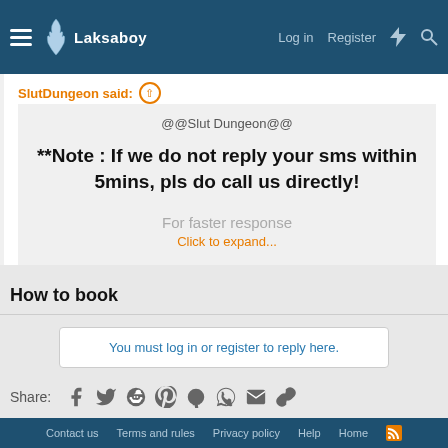Laksaboy  Log in  Register
SlutDungeon said:
@@Slut Dungeon@@

**Note : If we do not reply your sms within 5mins, pls do call us directly!

For faster response
Click to expand...
How to book
You must log in or register to reply here.
Share:
SG Thai Escorts
Contact us  Terms and rules  Privacy policy  Help  Home